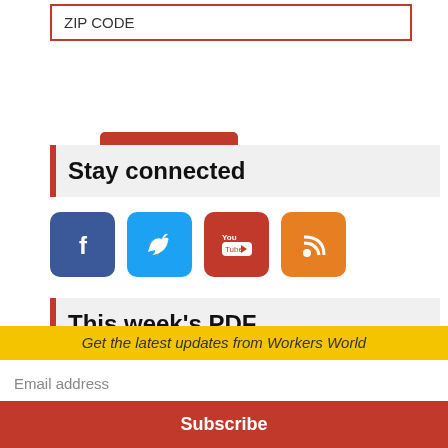ZIP CODE
Subscribe
Stay connected
[Figure (illustration): Social media icons: Facebook, Twitter, YouTube, RSS]
This week's PDF
[Figure (screenshot): Workers World newspaper PDF thumbnail showing 'MUNDO OBRERO / WORKERS WORLD' masthead with Follow us box and dropdown arrow]
Get the latest updates from Workers World
Email address
Subscribe